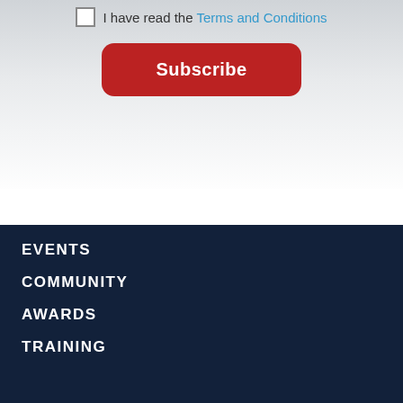I have read the Terms and Conditions
Subscribe
EVENTS
COMMUNITY
AWARDS
TRAINING